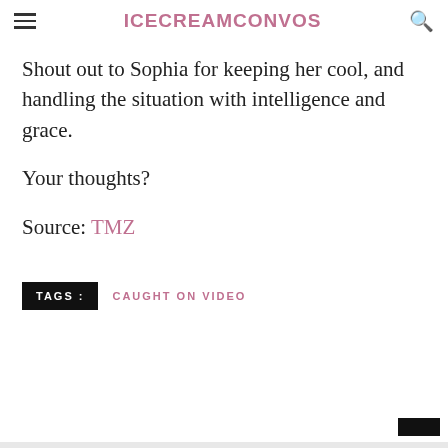ICECREAMCONVOS
Shout out to Sophia for keeping her cool, and handling the situation with intelligence and grace.
Your thoughts?
Source: TMZ
TAGS : CAUGHT ON VIDEO